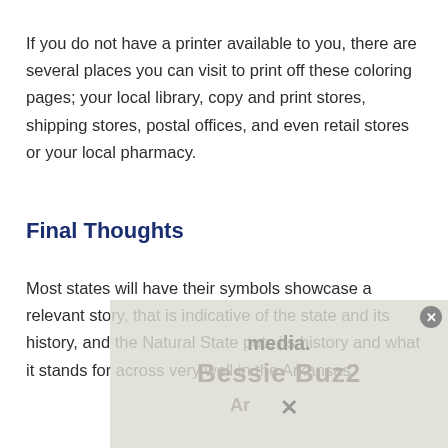If you do not have a printer available to you, there are several places you can visit to print off these coloring pages; your local library, copy and print stores, shipping stores, postal offices, and even retail stores or your local pharmacy.
Final Thoughts
Most states will have their symbols showcase a relevant story, that is indicative of the state and its history, and the Natural State puts its history and what it stands for across very well in the Arkansas
[Figure (other): Partially visible advertisement overlay with text 'media.' and 'Bessie Buz2' with a close button, overlapping the bottom portion of the page content.]